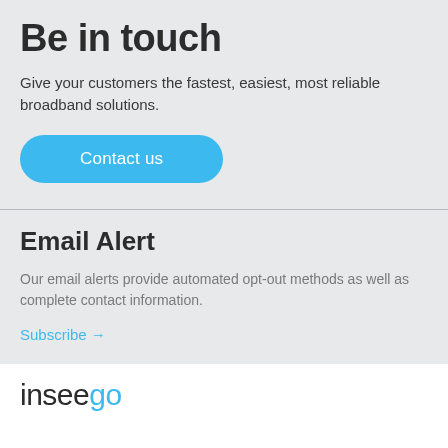Be in touch
Give your customers the fastest, easiest, most reliable broadband solutions.
Contact us
Email Alert
Our email alerts provide automated opt-out methods as well as complete contact information.
Subscribe →
[Figure (logo): Inseego logo with 'insee' in dark gray and 'go' in blue]